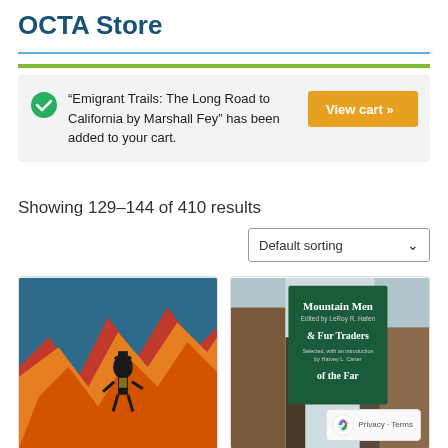OCTA Store
“Emigrant Trails: The Long Road to California by Marshall Fey” has been added to your cart.
View cart »
Showing 129–144 of 410 results
Default sorting
[Figure (photo): Book cover showing a man silhouetted against dramatic orange and red rocky mountains]
[Figure (photo): Book cover titled 'Mountain Men & Fur Traders of the Far...' edited by LeRoy R. Hafen, with introduction by Harvey L. Carter, showing rocky canyon landscape]